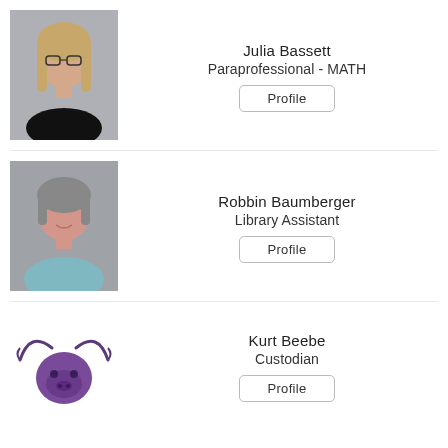[Figure (photo): Headshot photo of Julia Bassett, a young woman with glasses and long hair, gray background]
Julia Bassett
Paraprofessional - MATH
Profile
[Figure (photo): Headshot photo of Robbin Baumberger, a middle-aged woman with short gray-brown hair, wearing teal jacket, gray background]
Robbin Baumberger
Library Assistant
Profile
[Figure (logo): Purple longhorn mascot logo]
Kurt Beebe
Custodian
Profile